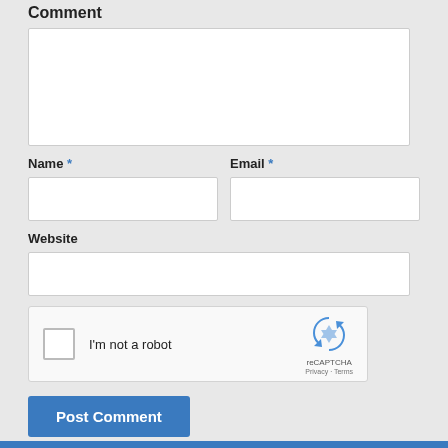Comment
[Figure (screenshot): Comment textarea input field, empty white box with resize handle]
Name *
[Figure (screenshot): Name text input field, empty white box]
Email *
[Figure (screenshot): Email text input field, empty white box]
Website
[Figure (screenshot): Website text input field, empty white box spanning full width]
[Figure (screenshot): reCAPTCHA widget with checkbox labeled I'm not a robot, reCAPTCHA logo, Privacy and Terms links]
Post Comment